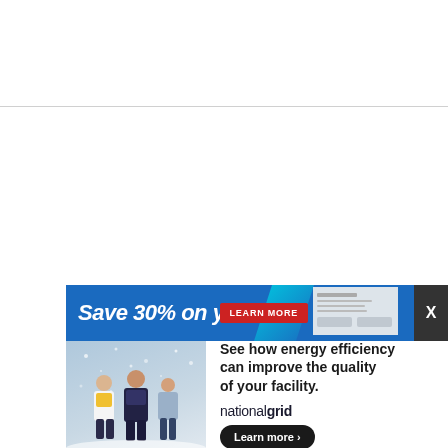[Figure (illustration): Advertisement banner. Top portion: blue background with white italic bold text 'Save 30% on your', a cyan diagonal shape, a red 'LEARN MORE' button, a small preview image area, and a dark close button with 'X'. Bottom portion: white background with a photo of people walking in snow/winter on the left, and text 'See how energy efficiency can improve the quality of your facility.' with the 'nationalgrid' logo and a 'Learn more ›' black pill button on the right.]